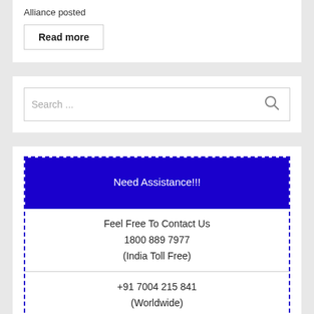Alliance posted
Read more
Search ...
Need Assistance!!!
Feel Free To Contact Us
1800 889 7977
(India Toll Free)
+91 7004 215 841
(Worldwide)